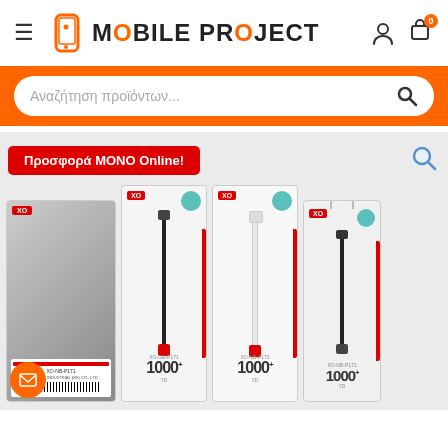MOBILE PROJECT
Αναζήτηση προϊόντων...
[Figure (screenshot): E-commerce product page for Mobile Project showing XO brand USB cable products with promotional badge 'Προσφορά ΜΟΝΟ Online!' and product packaging boxes]
Προσφορά ΜΟΝΟ Online!